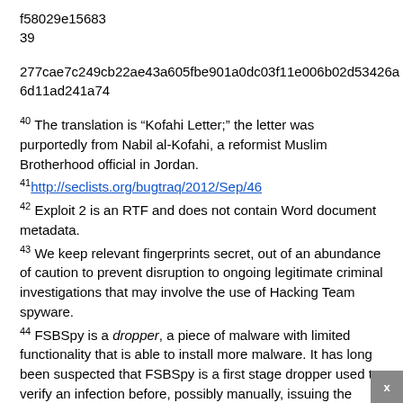f58029e15683
39
277cae7c249cb22ae43a605fbe901a0dc03f11e006b02d53426a6d11ad241a74
40 The translation is “Kofahi Letter;” the letter was purportedly from Nabil al-Kofahi, a reformist Muslim Brotherhood official in Jordan.
41 http://seclists.org/bugtraq/2012/Sep/46
42 Exploit 2 is an RTF and does not contain Word document metadata.
43 We keep relevant fingerprints secret, out of an abundance of caution to prevent disruption to ongoing legitimate criminal investigations that may involve the use of Hacking Team spyware.
44 FSBSpy is a dropper, a piece of malware with limited functionality that is able to install more malware. It has long been suspected that FSBSpy is a first stage dropper used to verify an infection before, possibly manually, issuing the